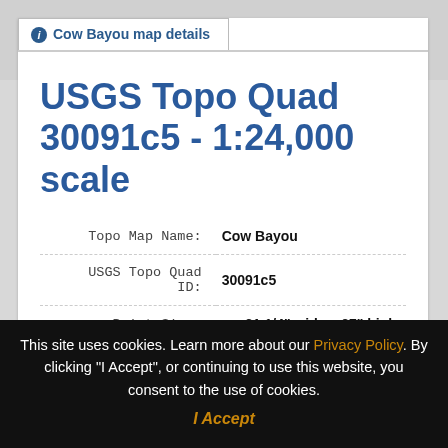ℹ Cow Bayou map details
USGS Topo Quad 30091c5 - 1:24,000 scale
| Field | Value |
| --- | --- |
| Topo Map Name: | Cow Bayou |
| USGS Topo Quad ID: | 30091c5 |
| Print Size: | ca. 21 1/4" wide x 27" high |
This site uses cookies. Learn more about our Privacy Policy. By clicking "I Accept", or continuing to use this website, you consent to the use of cookies. I Accept